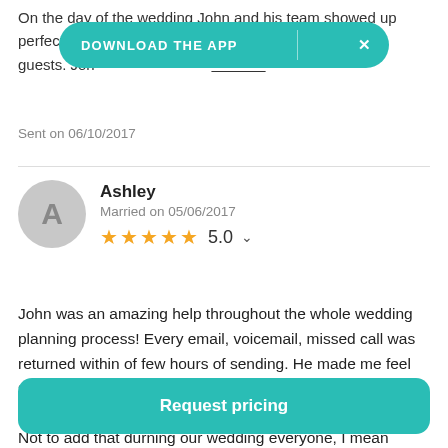On the day of the wedding John and his team showed up perfectly on time and were... for our guests. Joh... ...g
Sent on 06/10/2017
Ashley
Married on 05/06/2017
5.0
John was an amazing help throughout the whole wedding planning process! Every email, voicemail, missed call was returned within of few hours of sending. He made me feel so relaxed with planning my wedding and was not stressed at all. Graystone Catering's professionalism is impeccable!!! Not to add that durning our wedding everyone, I mean
Request pricing